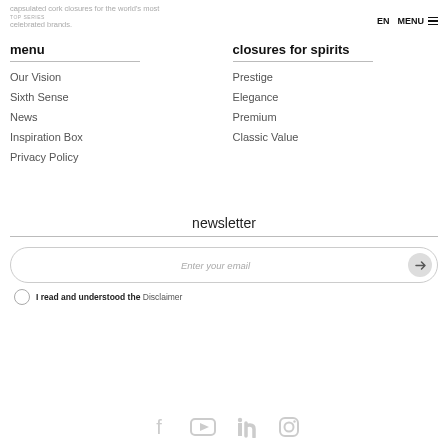capsulated cork closures for the world's most
TOP SERIES
celebrated brands.
EN  MENU
menu
closures for spirits
Our Vision
Sixth Sense
News
Inspiration Box
Privacy Policy
Prestige
Elegance
Premium
Classic Value
newsletter
Enter your email
I read and understood the Disclaimer
[Figure (illustration): Social media icons: Facebook, YouTube, LinkedIn, Instagram]